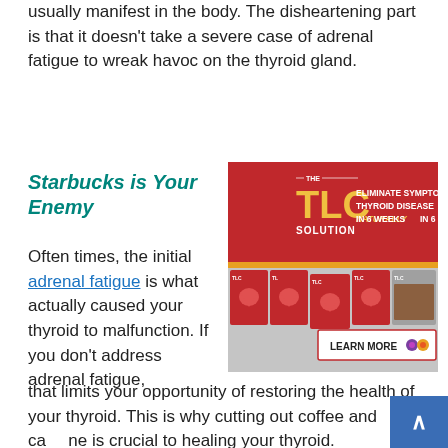usually manifest in the body. The disheartening part is that it doesn't take a severe case of adrenal fatigue to wreak havoc on the thyroid gland.
Starbucks is Your Enemy
[Figure (infographic): Advertisement for The Radical TLC Solution — red banner with text 'ELIMINATE SYMPTOMS OF THYROID DISEASE NATURALLY IN 6 WEEKS', showing multiple book/booklet covers with heart imagery and a 'LEARN MORE' button.]
Often times, the initial adrenal fatigue is what actually caused your thyroid to malfunction. If you don't address adrenal fatigue, that limits your opportunity of restoring the health of your thyroid. This is why cutting out coffee and caffeine is crucial to healing your thyroid.